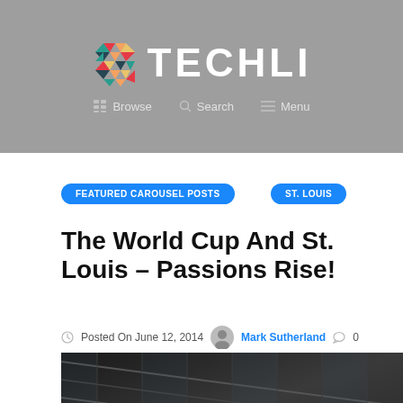[Figure (logo): Techli website header with colorful mosaic logo icon and white TECHLI text on grey background, with Browse, Search, Menu navigation below]
FEATURED CAROUSEL POSTS
ST. LOUIS
The World Cup And St. Louis – Passions Rise!
Posted On June 12, 2014  Mark Sutherland  0
[Figure (photo): Interior architectural photo showing glass ceiling/skylight structure with dark metal framing, with a green circle overlay in the lower right]